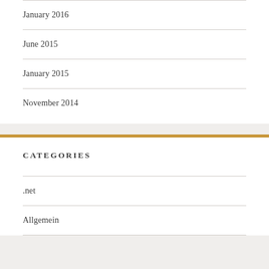January 2016
June 2015
January 2015
November 2014
CATEGORIES
.net
Allgemein